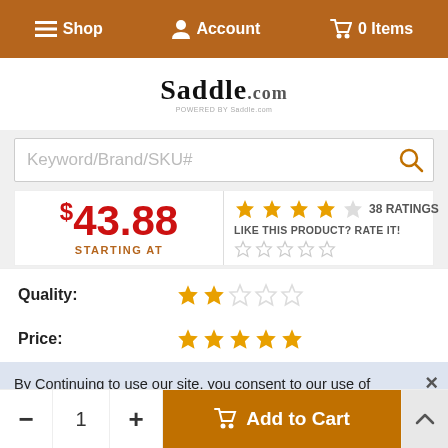Shop  Account  0 Items
[Figure (logo): Saddle.com logo]
Keyword/Brand/SKU#
$43.88 STARTING AT | 38 RATINGS | LIKE THIS PRODUCT? RATE IT!
Quality: 2 stars | Price: 5 stars | Pet Approval: 4 stars
Well... , 4/15/2012 (3 stars)
By Continuing to use our site, you consent to our use of cookies to improve your experience. Learn more
- 1 + Add to Cart